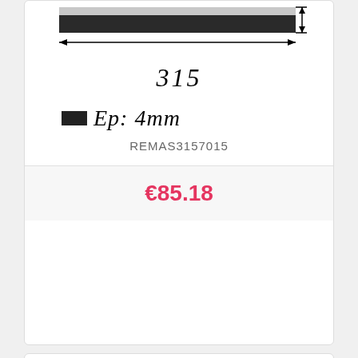[Figure (engineering-diagram): Technical cross-section diagram of a flat strip/sheet showing width dimension 315 with arrows, and a small thickness indicator on the right side]
315
Ep: 4mm
REMAS3157015
€85.18
Ep: 15